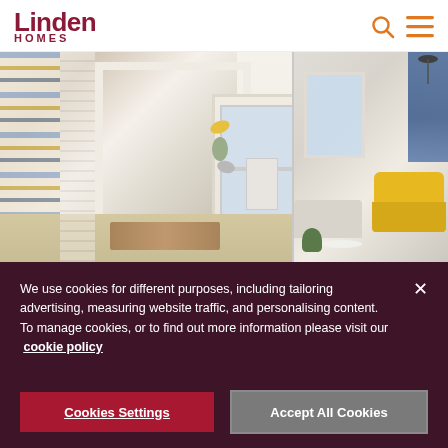Linden HOMES
[Figure (photo): Two interior home photos side by side: left shows a hallway with patterned wallpaper, white front door with glass panels, brown doormat, and radiator; right shows a living room with yellow armchair, blue curtains, and window.]
We use cookies for different purposes, including tailoring advertising, measuring website traffic, and personalising content. To manage cookies, or to find out more information please visit our  cookie policy
Cookies Settings
Accept All Cookies